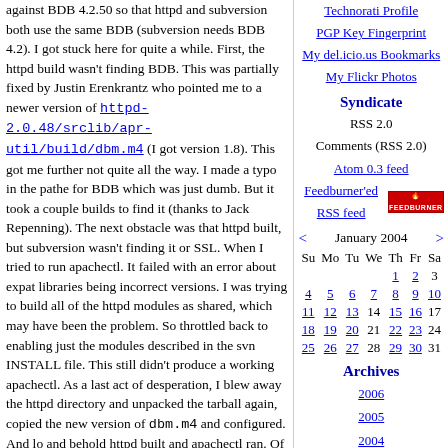against BDB 4.2.50 so that httpd and subversion both use the same BDB (subversion needs BDB 4.2). I got stuck here for quite a while. First, the httpd build wasn't finding BDB. This was partially fixed by Justin Erenkrantz who pointed me to a newer version of httpd-2.0.48/srclib/apr-util/build/dbm.m4 (I got version 1.8). This got me further not quite all the way. I made a typo in the pathe for BDB which was just dumb. But it took a couple builds to find it (thanks to Jack Repenning). The next obstacle was that httpd built, but subversion wasn't finding it or SSL. When I tried to run apachectl. It failed with an error about expat libraries being incorrect versions. I was trying to build all of the httpd modules as shared, which may have been the problem. So throttled back to enabling just the modules described in the svn INSTALL file. This still didn't produce a working apachectl. As a last act of desperation, I blew away the httpd directory and unpacked the tarball again, copied the new version of dbm.m4 and configured. And lo and behold httpd built and apachectl ran. Of course, I'm missing a bunch of modules that I want -- I guess I'll be learning how to build individual modules as DSO's (yes I did try to build all the modules non-shared. subversion didn't like that either).
Working httpd in hand, I then proceeded on to try and build subversion. After the first...
Technorati Profile
PGP Key Fingerprint
My del.icio.us Bookmarks
My Flickr Photos
Syndicate
RSS 2.0
Comments (RSS 2.0)
Atom 0.3 feed
Feedburner'ed RSS feed
| Su | Mo | Tu | We | Th | Fr | Sa |
| --- | --- | --- | --- | --- | --- | --- |
|  |  |  |  | 1 | 2 | 3 |
| 4 | 5 | 6 | 7 | 8 | 9 | 10 |
| 11 | 12 | 13 | 14 | 15 | 16 | 17 |
| 18 | 19 | 20 | 21 | 22 | 23 | 24 |
| 25 | 26 | 27 | 28 | 29 | 30 | 31 |
Archives
2006
2005
2004
2003